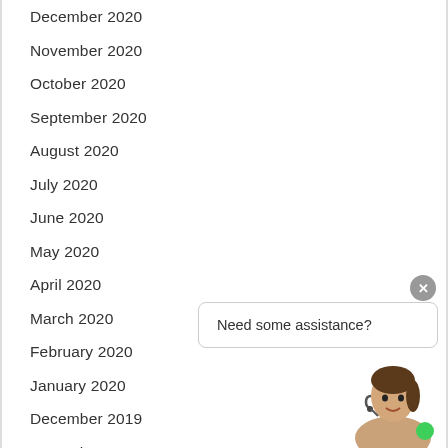December 2020
November 2020
October 2020
September 2020
August 2020
July 2020
June 2020
May 2020
April 2020
March 2020
February 2020
January 2020
December 2019
November 2019
October 2019
Need some assistance?